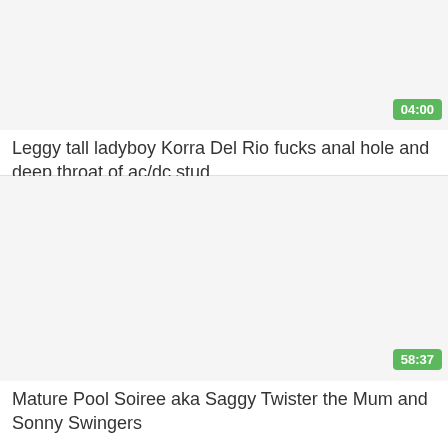[Figure (photo): Video thumbnail placeholder for first video card, light gray background]
04:00
Leggy tall ladyboy Korra Del Rio fucks anal hole and deep throat of ac/dc stud
[Figure (photo): Video thumbnail placeholder for second video card, light gray background]
58:37
Mature Pool Soiree aka Saggy Twister the Mum and Sonny Swingers